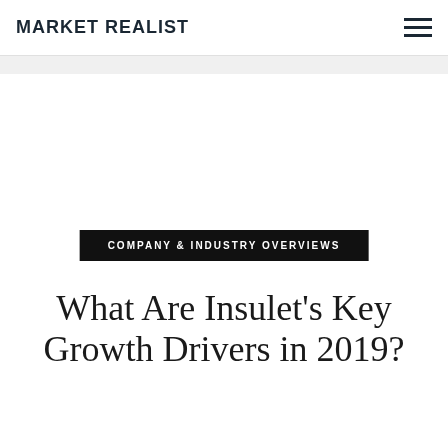MARKET REALIST
COMPANY & INDUSTRY OVERVIEWS
What Are Insulet's Key Growth Drivers in 2019?